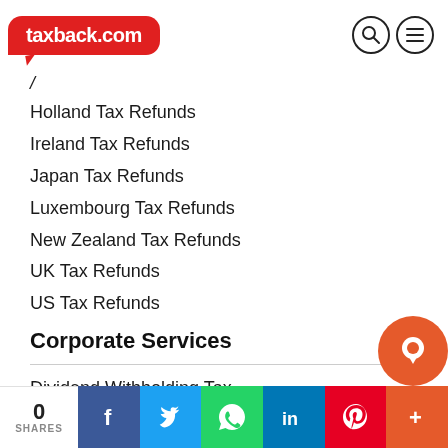taxback.com
Holland Tax Refunds
Ireland Tax Refunds
Japan Tax Refunds
Luxembourg Tax Refunds
New Zealand Tax Refunds
UK Tax Refunds
US Tax Refunds
Corporate Services
Dividend Withholding Tax
Global Mobility
Employee Share Schemes
International Payroll
VAT Recovery
Expatriate Tax Services
Tax Health Check
0 SHARES